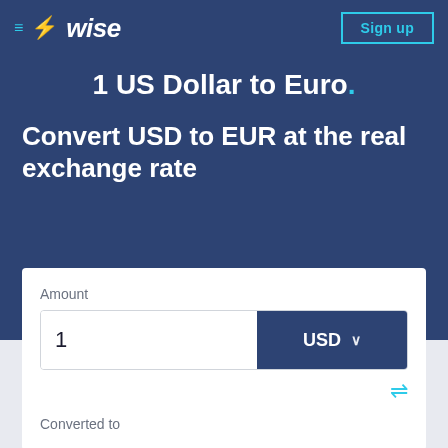≡ wise  Sign up
1 US Dollar to Euro.
Convert USD to EUR at the real exchange rate
Amount
1  USD
Converted to